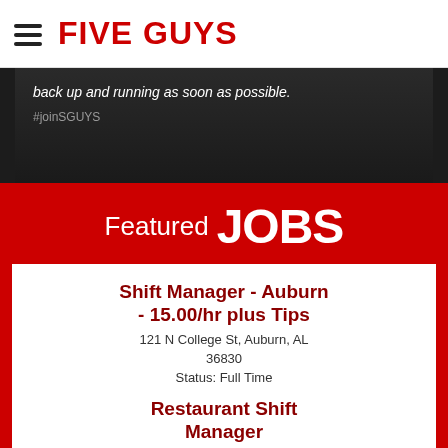FIVE GUYS
[Figure (screenshot): Dark video thumbnail with text 'back up and running as soon as possible.' and hashtag '#joinSGUYS' overlaid on a video frame showing people in Five Guys uniforms]
Featured JOBS
Shift Manager - Auburn - 15.00/hr plus Tips
121 N College St, Auburn, AL 36830
Status: Full Time
Restaurant Shift Manager (Foley/Fairhope)
3117 S McKenzie St, Foley, AL